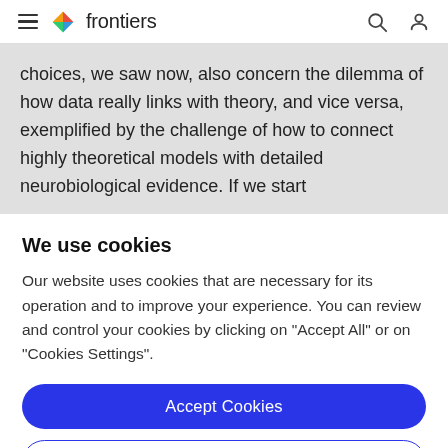frontiers
choices, we saw now, also concern the dilemma of how data really links with theory, and vice versa, exemplified by the challenge of how to connect highly theoretical models with detailed neurobiological evidence. If we start
We use cookies
Our website uses cookies that are necessary for its operation and to improve your experience. You can review and control your cookies by clicking on "Accept All" or on "Cookies Settings".
Accept Cookies
Cookies Settings